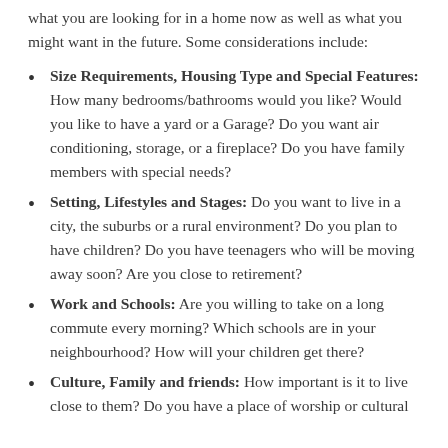what you are looking for in a home now as well as what you might want in the future. Some considerations include:
Size Requirements, Housing Type and Special Features: How many bedrooms/bathrooms would you like? Would you like to have a yard or a Garage? Do you want air conditioning, storage, or a fireplace? Do you have family members with special needs?
Setting, Lifestyles and Stages: Do you want to live in a city, the suburbs or a rural environment? Do you plan to have children? Do you have teenagers who will be moving away soon? Are you close to retirement?
Work and Schools: Are you willing to take on a long commute every morning? Which schools are in your neighbourhood? How will your children get there?
Culture, Family and friends: How important is it to live close to them? Do you have a place of worship or cultural